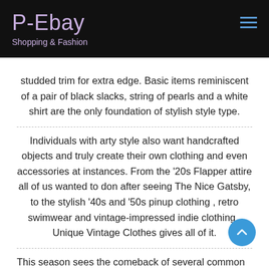P-Ebay
Shopping & Fashion
studded trim for extra edge. Basic items reminiscent of a pair of black slacks, string of pearls and a white shirt are the only foundation of stylish style type.
Individuals with arty style also want handcrafted objects and truly create their own clothing and even accessories at instances. From the '20s Flapper attire all of us wanted to don after seeing The Nice Gatsby, to the stylish '40s and '50s pinup clothing , retro swimwear and vintage-impressed indie clothing , Unique Vintage Clothes gives all of it.
This season sees the comeback of several common tendencies, whereas different sunglasses and